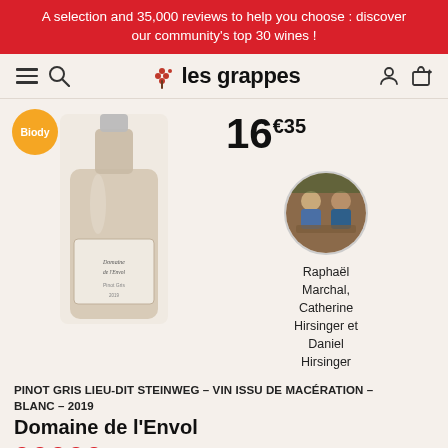A selection and 35,000 reviews to help you choose : discover our community's top 30 wines !
[Figure (logo): Les Grappes wine platform logo with grape cluster icon and site name]
[Figure (photo): Bottle of Pinot Gris Lieu-dit Steinweg white wine from Domaine de l'Envol, Alsace 2019]
Biody
16€35
[Figure (photo): Circular profile photo of Raphaël Marchal, Catherine Hirsinger and Daniel Hirsinger]
Raphaël Marchal, Catherine Hirsinger et Daniel Hirsinger
PINOT GRIS LIEU-DIT STEINWEG - VIN ISSU DE MACÉRATION - BLANC - 2019
Domaine de l'Envol
8 reviews
2019, Alsace - Alsace